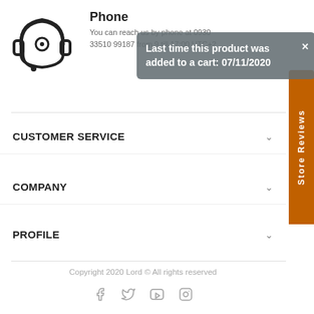[Figure (illustration): Headset icon with human head silhouette]
Phone
You can reach us by phone at 0930 33510 99187 from 9 till 17:00 UTC+2
Last time this product was added to a cart: 07/11/2020
CUSTOMER SERVICE
COMPANY
PROFILE
Copyright 2020 Lord © All rights reserved